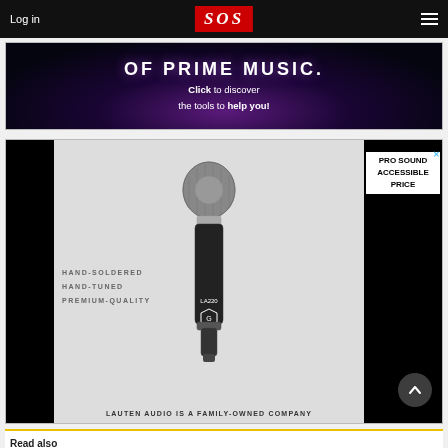Log in | SOS | ☰
[Figure (photo): Dark colorful background ad banner with text 'Click to discover the tools to help you!' promoting music tools]
[Figure (photo): Lauten Audio LA220 microphone advertisement on dark/grey background with text: PRO SOUND ACCESSIBLE PRICE, HAND-SOLDERED HAND-TUNED PREMIUM-QUALITY, LAUTEN AUDIO IS A FAMILY-OWNED COMPANY]
Read also